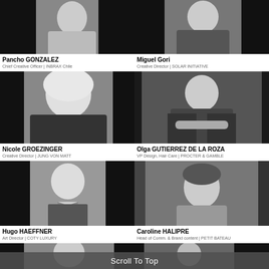[Figure (photo): Black and white photo of Pancho GONZALEZ, man in white shirt outdoors]
Pancho GONZALEZ
Chief Creative Officer | INBRAX Chile
[Figure (photo): Black and white photo of Miguel Gori, man in dark shirt]
Miguel Gori
Creative Director | SOLAR INITIATIVE
[Figure (photo): Black and white photo of Nicole GROEZINGER, blonde woman]
Nicole GROEZINGER
Creative Director | JUNG VON MATT
[Figure (photo): Black and white photo of Olga GUTIERREZ DE LA ROZA, woman in blazer with arms crossed]
Olga GUTIERREZ DE LA ROZA
VP Design, Hair Care | PROCTER & GAMBLE
[Figure (photo): Black and white photo of Hugo HAEFFNER, young man with bow tie]
Hugo HAEFFNER
Art Director | COTY LUXURY
[Figure (photo): Black and white photo of Caroline HALIPRE, woman with short dark hair]
Caroline HALIPRE
Head of Comm. & Brand content | PETIT BATEAU
[Figure (photo): Partially visible photos at bottom of page]
Scroll To Top